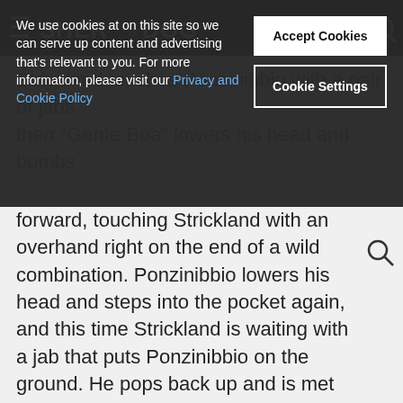Sherdog header bar
We use cookies at on this site so we can serve up content and advertising that's relevant to you. For more information, please visit our Privacy and Cookie Policy
Accept Cookies
Cookie Settings
Strickland touches Ponzinibbio with a pair of jabs then "Gente Boa" lowers his head and bombs forward, touching Strickland with an overhand right on the end of a wild combination. Ponzinibbio lowers his head and steps into the pocket again, and this time Strickland is waiting with a jab that puts Ponzinibbio on the ground. He pops back up and is met with a double-leg attempt from Strickland, who completes the takedown near the fence but can't keep Ponzinibbio on his back. Ponzinibbio stands and escapes the clinch with 3:30 remaining in the fight. Strickland is bleeding from his nose, still trying to jab at Ponzinibbio, who continues his work on Tarzan's lead leg. Ponzinibbio is moving Strickland around the outside, slapping